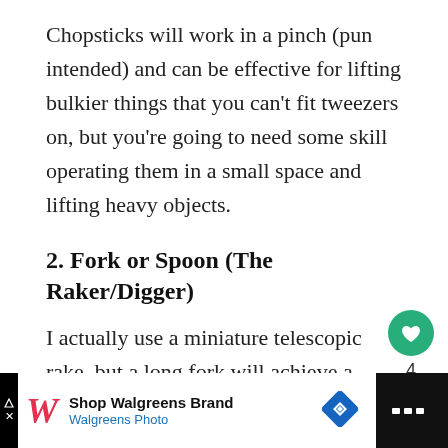Chopsticks will work in a pinch (pun intended) and can be effective for lifting bulkier things that you can’t fit tweezers on, but you’re going to need some skill operating them in a small space and lifting heavy objects.
2. Fork or Spoon (The Raker/Digger)
I actually use a miniature telescopic rake, but a long fork will achieve a similar effect.
[Figure (infographic): Green circular like/heart button with count of 4, and a share button below it]
[Figure (infographic): Advertisement bar: Walgreens brand ad with logo, 'Shop Walgreens Brand' text, 'Walgreens Photo' subtext, blue diamond navigation icon, and dark right panel with dots icon]